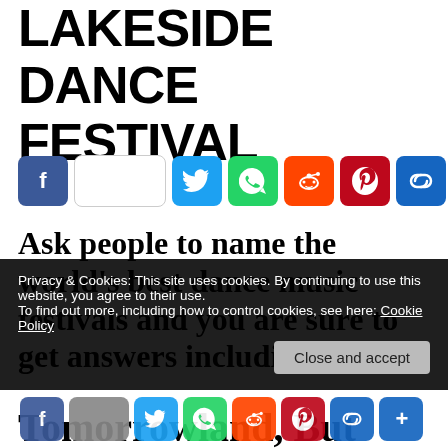LAKESIDE DANCE FESTIVAL
[Figure (infographic): Social share buttons row: Facebook, count box, Twitter, WhatsApp, Reddit, Pinterest, Link, More]
Ask people to name the world's best dance music festivals and you are sure to get answers including
Privacy & Cookies: This site uses cookies. By continuing to use this website, you agree to their use.
To find out more, including how to control cookies, see here: Cookie Policy
Close and accept
[Figure (infographic): Bottom social share buttons: Facebook, count, Twitter, WhatsApp, Reddit, Pinterest, Link, More]
Tomorrowland, But